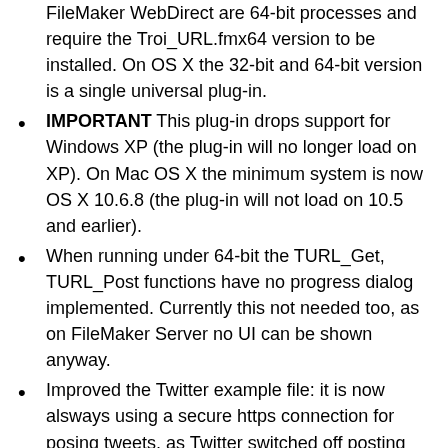FileMaker WebDirect are 64-bit processes and require the Troi_URL.fmx64 version to be installed. On OS X the 32-bit and 64-bit version is a single universal plug-in.
IMPORTANT This plug-in drops support for Windows XP (the plug-in will no longer load on XP). On Mac OS X the minimum system is now OS X 10.6.8 (the plug-in will not load on 10.5 and earlier).
When running under 64-bit the TURL_Get, TURL_Post functions have no progress dialog implemented. Currently this not needed too, as on FileMaker Server no UI can be shown anyway.
Improved the Twitter example file: it is now alsways using a secure https connection for posing tweets, as Twitter switched off posting via the (less secure) http protocol.
Improved the example file FillForm: it is